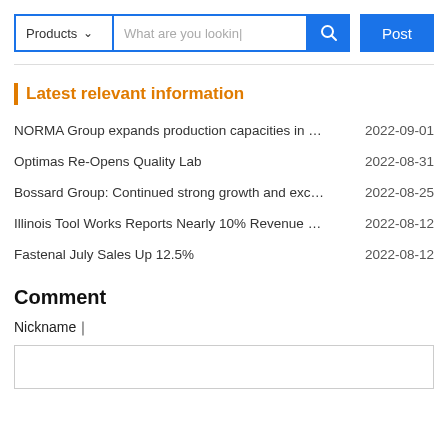[Figure (screenshot): Search bar with Products dropdown, text input placeholder 'What are you looking', search icon button, and Post button]
| Latest relevant information
NORMA Group expands production capacities in …    2022-09-01
Optimas Re-Opens Quality Lab    2022-08-31
Bossard Group: Continued strong growth and exc…    2022-08-25
Illinois Tool Works Reports Nearly 10% Revenue …    2022-08-12
Fastenal July Sales Up 12.5%    2022-08-12
Comment
Nickname｜